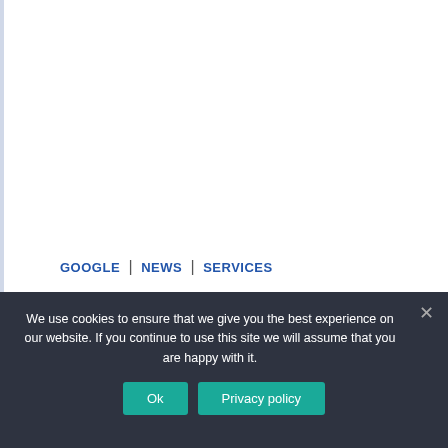GOOGLE | NEWS | SERVICES
We use cookies to ensure that we give you the best experience on our website. If you continue to use this site we will assume that you are happy with it.